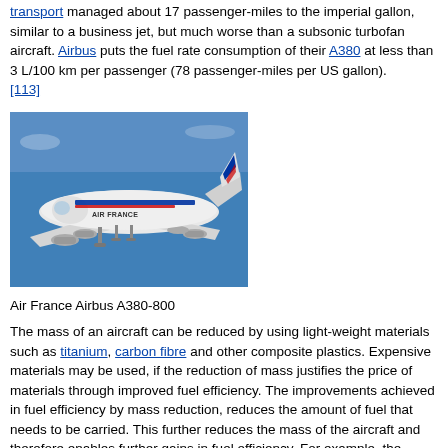transport managed about 17 passenger-miles to the imperial gallon, similar to a business jet, but much worse than a subsonic turbofan aircraft. Airbus puts the fuel rate consumption of their A380 at less than 3 L/100 km per passenger (78 passenger-miles per US gallon). [113]
[Figure (photo): Air France Airbus A380-800 aircraft in flight against a blue sky, seen from below-front angle, showing the underside with landing gear visible.]
Air France Airbus A380-800
The mass of an aircraft can be reduced by using light-weight materials such as titanium, carbon fibre and other composite plastics. Expensive materials may be used, if the reduction of mass justifies the price of materials through improved fuel efficiency. The improvements achieved in fuel efficiency by mass reduction, reduces the amount of fuel that needs to be carried. This further reduces the mass of the aircraft and therefore enables further gains in fuel efficiency. For example, the Airbus A380 design includes multiple light-weight materials.
Airbus has showcased wingtip devices (sharklets or winglets) that